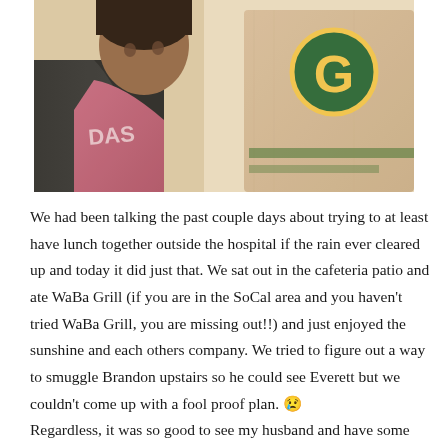[Figure (photo): A selfie-style photo showing a person in a pink top and dark jacket holding what appears to be a tan/beige bag with a Green Bay Packers logo (green circle with yellow G) visible. The photo appears to be taken outdoors in bright sunlight.]
We had been talking the past couple days about trying to at least have lunch together outside the hospital if the rain ever cleared up and today it did just that. We sat out in the cafeteria patio and ate WaBa Grill (if you are in the SoCal area and you haven't tried WaBa Grill, you are missing out!!) and just enjoyed the sunshine and each others company. We tried to figure out a way to smuggle Brandon upstairs so he could see Everett but we couldn't come up with a fool proof plan. 😢 Regardless, it was so good to see my husband and have some actual face to face interaction for the first time in